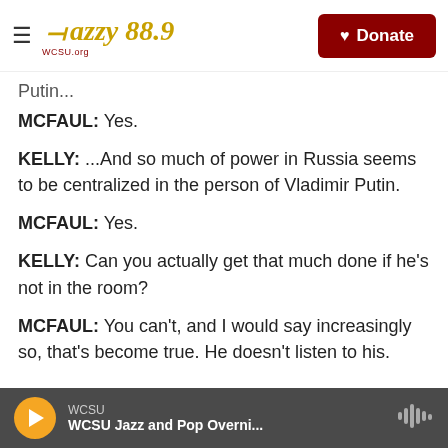Jazzy 88.9 WCSU | Donate
Putin...
MCFAUL: Yes.
KELLY: ...And so much of power in Russia seems to be centralized in the person of Vladimir Putin.
MCFAUL: Yes.
KELLY: Can you actually get that much done if he's not in the room?
MCFAUL: You can't, and I would say increasingly so, that's become true. He doesn't listen to his.
WCSU — WCSU Jazz and Pop Overni...